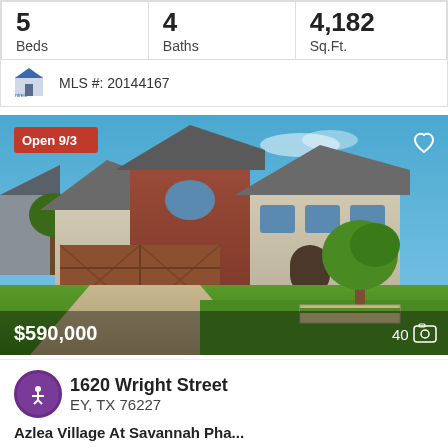| Beds | Baths | Sq.Ft. |
| --- | --- | --- |
| 5 | 4 | 4,182 |
MLS #: 20144167
[Figure (photo): Exterior photo of a two-story brick and stone house with wooden garage doors, lawn and tree, listed for $590,000. Open house 9/3. 40 photos.]
1620 Wright Street
EY, TX 76227
Azlea Village At Savannah Pha...